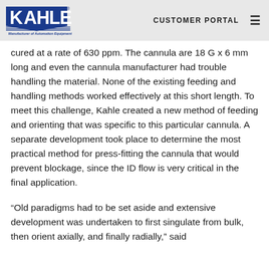KAHLE — Manufacturer of Automation Equipment | CUSTOMER PORTAL
cured at a rate of 630 ppm. The cannula are 18 G x 6 mm long and even the cannula manufacturer had trouble handling the material. None of the existing feeding and handling methods worked effectively at this short length. To meet this challenge, Kahle created a new method of feeding and orienting that was specific to this particular cannula. A separate development took place to determine the most practical method for press-fitting the cannula that would prevent blockage, since the ID flow is very critical in the final application.
“Old paradigms had to be set aside and extensive development was undertaken to first singulate from bulk, then orient axially, and finally radially,” said